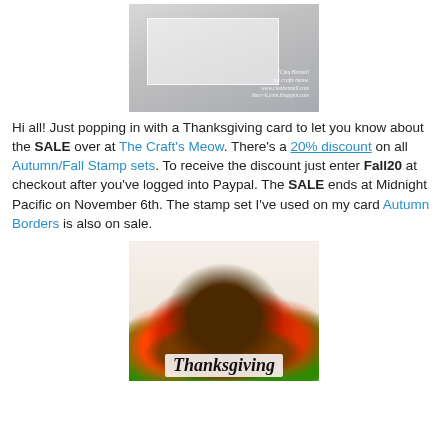[Figure (photo): A Thanksgiving card back showing a plain white/grey card with 'the crafts meow' watermark in the bottom right corner]
Hi all! Just popping in with a Thanksgiving card to let you know about the SALE over at The Craft's Meow. There's a 20% discount on all Autumn/Fall Stamp sets. To receive the discount just enter Fall20 at checkout after you've logged into Paypal. The SALE ends at Midnight Pacific on November 6th. The stamp set I've used on my card Autumn Borders is also on sale.
[Figure (photo): A Thanksgiving card featuring a colorful turkey surrounded by autumn leaves and fall foliage, with a 'Thanksgiving' banner at the bottom]